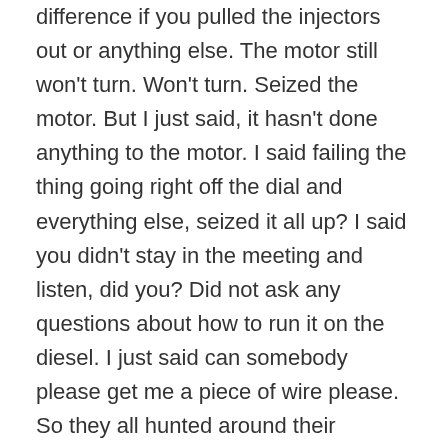difference if you pulled the injectors out or anything else. The motor still won't turn. Won't turn. Seized the motor. But I just said, it hasn't done anything to the motor. I said failing the thing going right off the dial and everything else, seized it all up? I said you didn't stay in the meeting and listen, did you? Did not ask any questions about how to run it on the diesel. I just said can somebody please get me a piece of wire please. So they all hunted around their vehicles and everything else, and they finally ended up finding a piece of wire. They said what are you going to do with that? I said I'm going to unseize the motor in a split second. He said me motor's seized up, it's me two thousand dollars or something else down the drain and everything else, rant, rant, rant...